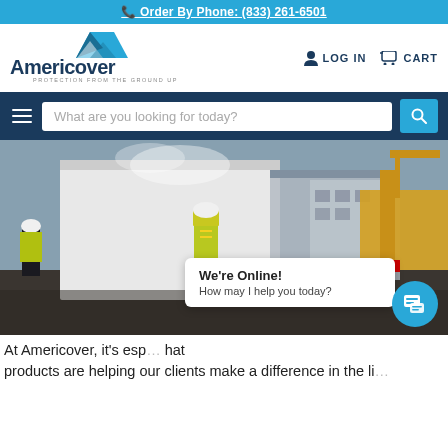Order By Phone: (833) 261-6501
[Figure (logo): Americover logo with mountain/tent icon and tagline 'PROTECTION FROM THE GROUND UP']
[Figure (screenshot): Navigation bar with LOG IN and CART icons]
[Figure (screenshot): Search bar with hamburger menu showing 'What are you looking for today?']
[Figure (photo): Construction site photo with workers in yellow safety vests and hard hats, large white sheeting/tarps, heavy machinery/crane on right, parking structure in background]
We're Online! How may I help you today?
At Americover, it's esp... that products are helping our clients make a difference in the li...